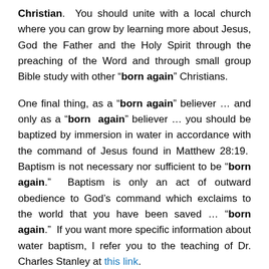Christian. You should unite with a local church where you can grow by learning more about Jesus, God the Father and the Holy Spirit through the preaching of the Word and through small group Bible study with other "born again" Christians.
One final thing, as a "born again" believer … and only as a "born again" believer … you should be baptized by immersion in water in accordance with the command of Jesus found in Matthew 28:19. Baptism is not necessary nor sufficient to be "born again." Baptism is only an act of outward obedience to God's command which exclaims to the world that you have been saved … "born again." If you want more specific information about water baptism, I refer you to the teaching of Dr. Charles Stanley at this link.
Once you can truly claim that you are a Christian, immerse